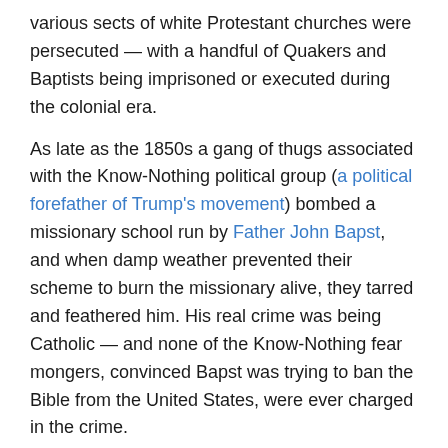various sects of white Protestant churches were persecuted — with a handful of Quakers and Baptists being imprisoned or executed during the colonial era.
As late as the 1850s a gang of thugs associated with the Know-Nothing political group (a political forefather of Trump's movement) bombed a missionary school run by Father John Bapst, and when damp weather prevented their scheme to burn the missionary alive, they tarred and feathered him. His real crime was being Catholic — and none of the Know-Nothing fear mongers, convinced Bapst was trying to ban the Bible from the United States, were ever charged in the crime.
[Figure (photo): Portrait photo of a man in a suit with an American flag in the background]